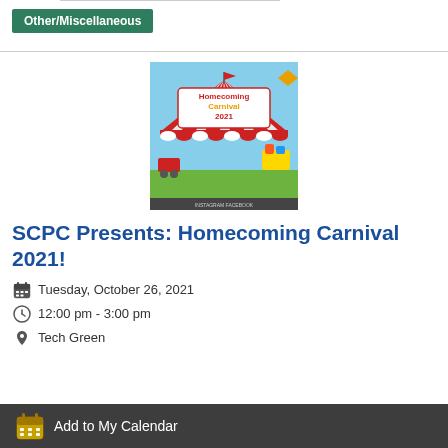Other/Miscellaneous
[Figure (illustration): Homecoming Carnival 2021 event flyer showing a carnival tent with red and white stripes, a red flag, cartoon carnival items, and text about the event details including Tuesday, October 26, 2021 at Tech Green, 12:00-3:00 PM, FREE Tickets available at bkly.campuslabs.com]
SCPC Presents: Homecoming Carnival 2021!
Tuesday, October 26, 2021
12:00 pm - 3:00 pm
Tech Green
Add to My Calendar